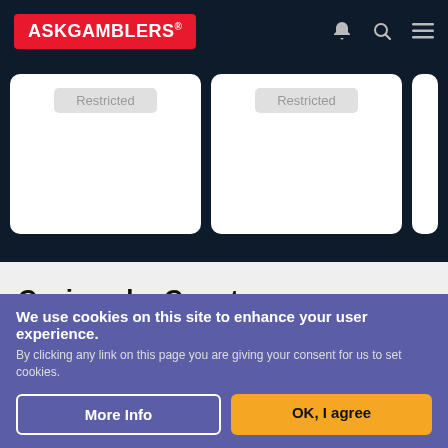ASKGAMBLERS
[Figure (screenshot): Two casino cards showing 'Restricted' badges on dark navy background]
Casinos by Country
Use our country-specific directory, choose your region, navigate through our list of online casinos available in your country and let your gaming adventure begin.
United States - Virginia
We use cookies on this site to enhance your user experience.
By clicking any link on this page you are giving your consent for us to set cookies.